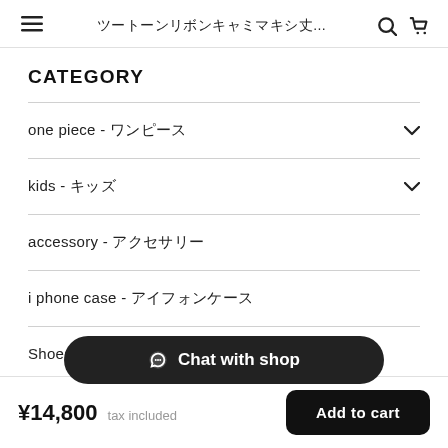ツートーンリボンキャミマキシ丈...
CATEGORY
one piece - ワンピース
kids - キッズ
accessory - アクセサリー
i phone case - アイフォンケース
Shoes - シュ
Chat with shop
¥14,800 tax included  Add to cart